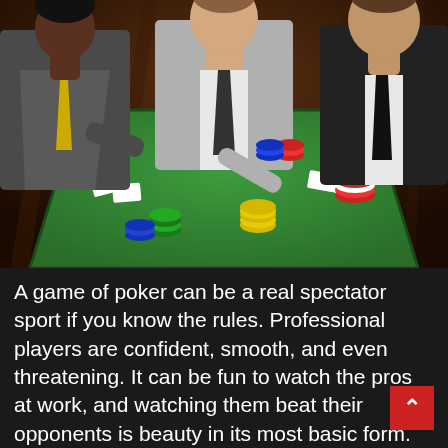[Figure (photo): Three men in suits playing poker around a green felt poker table covered with colored chips (green, yellow, blue, red, white). The man in the center wears a light grey suit with a dark tie and is reaching toward poker cards on the table. The man on the left wears a grey vest over a white shirt with a yellow tie. The man on the right wears a black suit with a black tie. The background is dark brown wood paneling. Cards are visible on the table.]
A game of poker can be a real spectator sport if you know the rules. Professional players are confident, smooth, and even threatening. It can be fun to watch the pros at work, and watching them beat their opponents is beauty in its most basic form. Poker rules are relatively straightforward, but there are several important things to keep in mind if you plan to enjoy this game. Here are some tips for